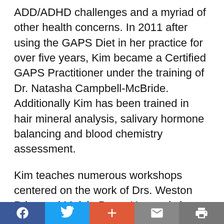ADD/ADHD challenges and a myriad of other health concerns. In 2011 after using the GAPS Diet in her practice for over five years, Kim became a Certified GAPS Practitioner under the training of Dr. Natasha Campbell-McBride. Additionally Kim has been trained in hair mineral analysis, salivary hormone balancing and blood chemistry assessment.
Kim teaches numerous workshops centered on the work of Drs. Weston Price and Melvin Page. Her workshop topics range from children's health and female hormonal concerns to transitioning to a whole foods diet. She serves as co-leader of the San Diego